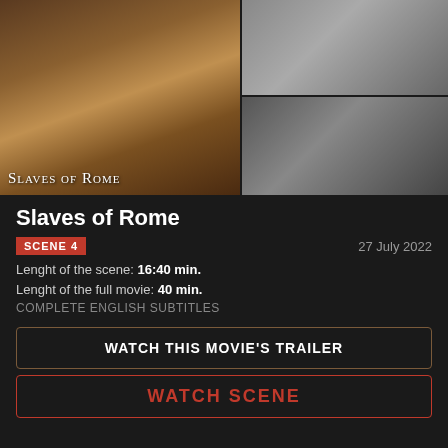[Figure (photo): Three film stills from 'Slaves of Rome'. Left: large main image with movie title overlay 'Slaves of Rome'. Top right: smaller scene still. Bottom right: scene still of a woman.]
Slaves of Rome
SCENE 4   27 July 2022
Lenght of the scene: 16:40 min.
Lenght of the full movie: 40 min.
COMPLETE ENGLISH SUBTITLES
WATCH THIS MOVIE'S TRAILER
WATCH SCENE